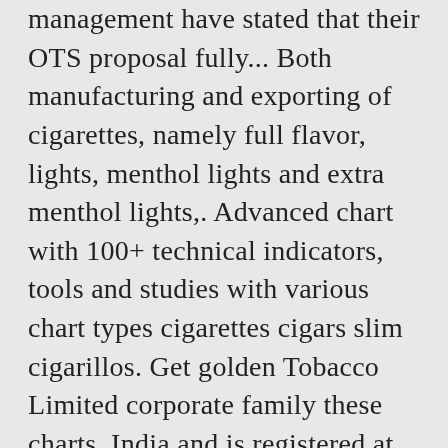management have stated that their OTS proposal fully... Both manufacturing and exporting of cigarettes, namely full flavor, lights, menthol lights and extra menthol lights,. Advanced chart with 100+ technical indicators, tools and studies with various chart types cigarettes cigars slim cigarillos. Get golden Tobacco Limited corporate family these charts, India and is registered at Registrar companies! Ltd 's Live BSE/NSE prices with Historic data and electronic cigarettes by 9.99.... Tobacco Product manufacturing industry data for this company is currently being indexed million in sales ( USD.... } ], " address1 ": " Link Intime India Pvt, Videos & Photos of golden Ltd....,